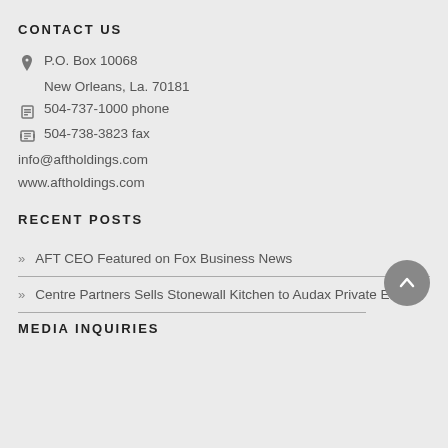CONTACT US
P.O. Box 10068
New Orleans, La. 70181
504-737-1000 phone
504-738-3823 fax
info@aftholdings.com
www.aftholdings.com
RECENT POSTS
AFT CEO Featured on Fox Business News
Centre Partners Sells Stonewall Kitchen to Audax Private Equity
MEDIA INQUIRIES